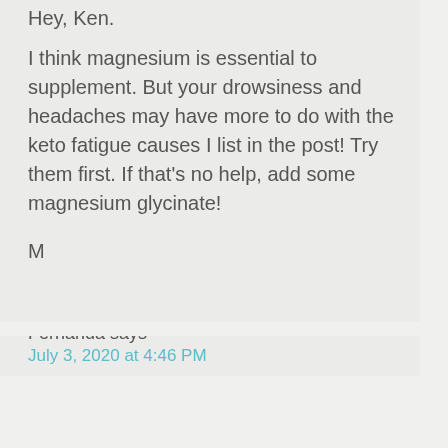Hey, Ken.
I think magnesium is essential to supplement. But your drowsiness and headaches may have more to do with the keto fatigue causes I list in the post! Try them first. If that's no help, add some magnesium glycinate!
M
Fernanda says
July 3, 2020 at 4:46 PM